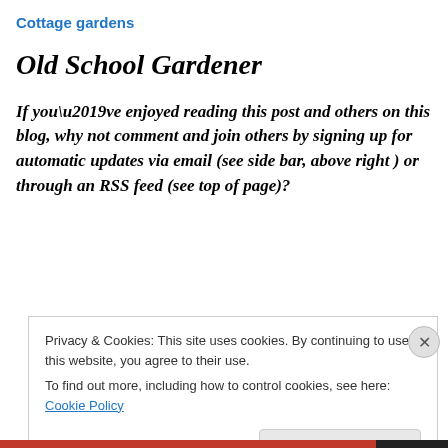Cottage gardens
Old School Gardener
If you’ve enjoyed reading this post and others on this blog, why not comment and join others by signing up for automatic updates via email (see side bar, above right ) or through an RSS feed (see top of page)?
Privacy & Cookies: This site uses cookies. By continuing to use this website, you agree to their use.
To find out more, including how to control cookies, see here: Cookie Policy
Close and accept